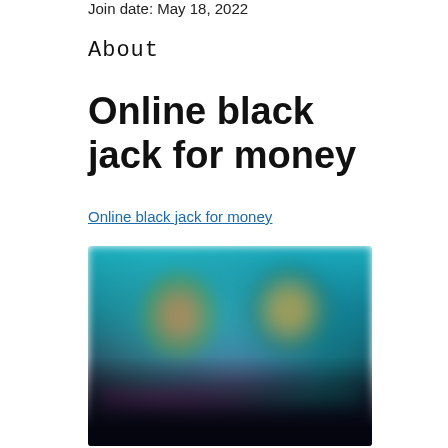Join date: May 18, 2022
About
Online black jack for money
Online black jack for money
[Figure (photo): Blurred screenshot of an online casino or gaming platform showing colorful animated characters and game tiles against a dark teal/dark background]